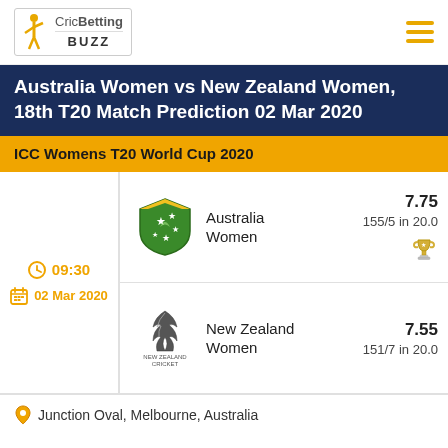CricBetting BUZZ
Australia Women vs New Zealand Women, 18th T20 Match Prediction 02 Mar 2020
ICC Womens T20 World Cup 2020
09:30
02 Mar 2020
Australia Women
7.75
155/5 in 20.0
New Zealand Women
7.55
151/7 in 20.0
Junction Oval, Melbourne, Australia